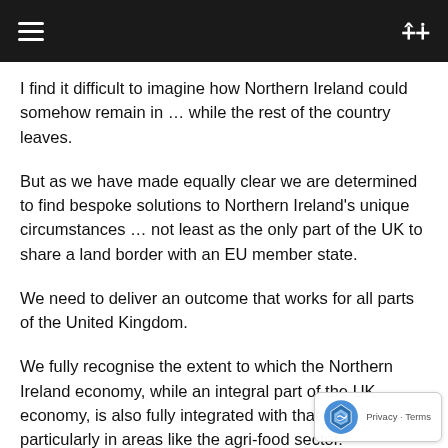I find it difficult to imagine how Northern Ireland could somehow remain in … while the rest of the country leaves.
But as we have made equally clear we are determined to find bespoke solutions to Northern Ireland's unique circumstances … not least as the only part of the UK to share a land border with an EU member state.
We need to deliver an outcome that works for all parts of the United Kingdom.
We fully recognise the extent to which the Northern Ireland economy, while an integral part of the UK economy, is also fully integrated with that of Ireland, particularly in areas like the agri-food sector.